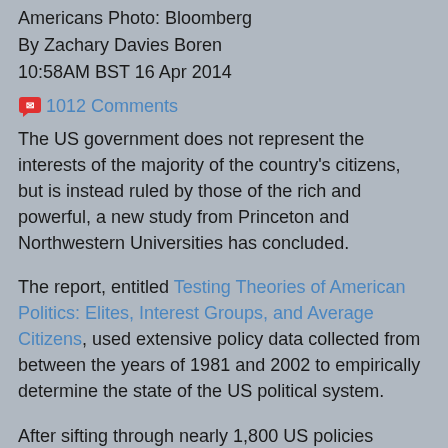Americans Photo: Bloomberg
By Zachary Davies Boren
10:58AM BST 16 Apr 2014
1012 Comments
The US government does not represent the interests of the majority of the country's citizens, but is instead ruled by those of the rich and powerful, a new study from Princeton and Northwestern Universities has concluded.
The report, entitled Testing Theories of American Politics: Elites, Interest Groups, and Average Citizens, used extensive policy data collected from between the years of 1981 and 2002 to empirically determine the state of the US political system.
After sifting through nearly 1,800 US policies enacted in that period and comparing them to the expressed preferences of average Americans (50th percentile of income), affluent Americans (90th percentile) and large special interests groups, researchers concluded that the United States is dominated by its economic elite.